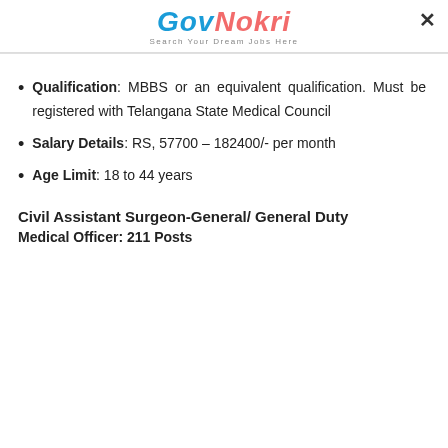GovNokri — Search Your Dream Jobs Here
Qualification: MBBS or an equivalent qualification. Must be registered with Telangana State Medical Council
Salary Details: RS, 57700 – 182400/- per month
Age Limit: 18 to 44 years
Civil Assistant Surgeon-General/ General Duty
Medical Officer: 211 Posts